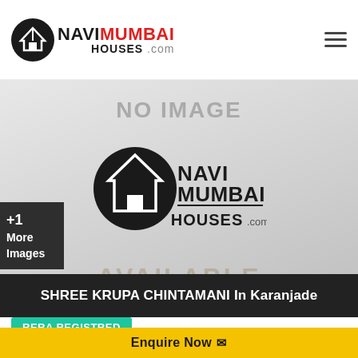[Figure (logo): NaviMumbaiHouses.com logo in page header with house icon and hamburger menu]
[Figure (other): Property listing image placeholder showing NO IMAGE text with NaviMumbaiHouses.com watermark logo and AVAILABLE text, plus +1 More Images badge]
SHREE KRUPA CHINTAMANI In Karanjade
RERA REGISTRED
Enquire Now